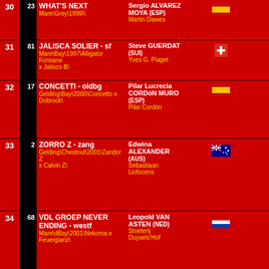| # | Bib | Horse | Rider | Flag |  |  |
| --- | --- | --- | --- | --- | --- | --- |
| 30 | 23 | WHAT'S NEXT
Mare\Grey\1999\\ | Sergio ALVAREZ MOYA (ESP)
Martin Dawes | ESP |  |  |
| 31 | 81 | JALISCA SOLIER - sf
Mare\Bay\1997\Alligator Fontaine x Jalisco B\ | Steve GUERDAT (SUI)
Yves G. Piaget | SUI |  |  |
| 32 | 17 | CONCETTI - oldbg
Gelding\Bay\2000\Concetto x Dobrock\ | Pilar Lucrecia CORDóN MURO (ESP)
Pilar Cordón | ESP |  |  |
| 33 | 2 | ZORRO Z - zang
Gelding\Chestnut\2001\Zandor Z x Calvin Z\ | Edwina ALEXANDER (AUS)
Sebastiaan Liofsoens | AUS |  |  |
| 34 | 68 | VDL GROEP NEVER ENDING - westf
Mare\dBay\2001\Nekoma x Feuerglanz\ | Leopold VAN ASTEN (NED)
Stoeterij Duysels'Hof | NED |  |  |
Friday 12 February, 2010    17:34:55 Sport Computer Graphics (Lieveren, NED) / www.scg-nl.nl
[Figure (logo): SCG Sport Computer Graphics logo - red S, green C, blue G letters]
Results by:
SPORT COMPUTER GRAPHICS
(c)SPORT COMPUTER GRAPHICS
[Figure (logo): Alltech FEI World Equestrian Games Kentucky 2010 logo]
Timing & Result Provider of the ALLTECH FEI WORLD EQUESTRIAN GAMES 2010, Lexington, KY - USA
Click here for more information and ordering online tickets